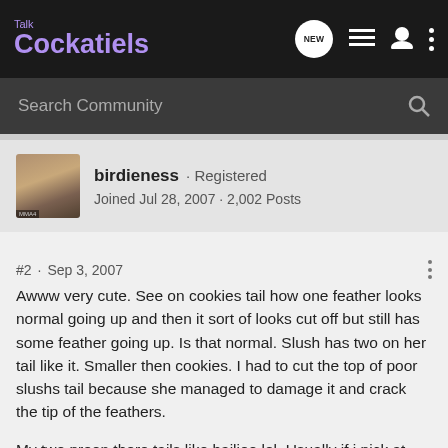Talk Cockatiels
Search Community
birdieness · Registered
Joined Jul 28, 2007 · 2,002 Posts
#2 · Sep 3, 2007
Awww very cute. See on cookies tail how one feather looks normal going up and then it sort of looks cut off but still has some feather going up. Is that normal. Slush has two on her tail like it. Smaller then cookies. I had to cut the top of poor slushs tail because she managed to damage it and crack the tip of the feathers.

My two preen there tails like bailiee lol. Usually if i pick at hugs tail he will start to preen it.